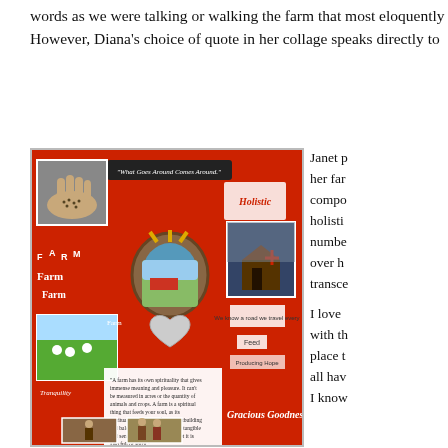words as we were talking or walking the farm that most eloquently However, Diana's choice of quote in her collage speaks directly to
[Figure (photo): A red collage board featuring farm-themed items including photos of fields, animals, hands holding seeds, a horseshoe with a landscape photo inside, a heart-shaped stone, and various text labels including 'What Goes Around Comes Around', 'Holistic', 'Farm', 'Gracious Goodness', 'Feed', 'Tranquility', and a quote by Thomas Moore about farm spirituality.]
Janet p her far compo holisti numbe over h transce

I love with th place t all hav I know